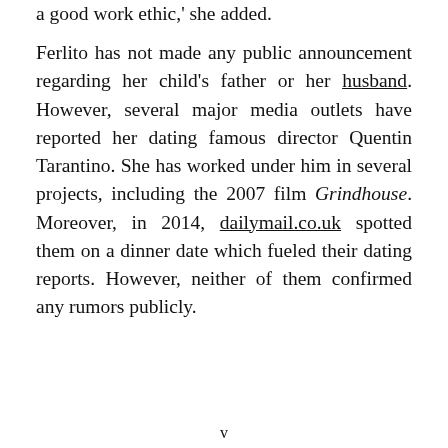a good work ethic,' she added.
Ferlito has not made any public announcement regarding her child's father or her husband. However, several major media outlets have reported her dating famous director Quentin Tarantino. She has worked under him in several projects, including the 2007 film Grindhouse. Moreover, in 2014, dailymail.co.uk spotted them on a dinner date which fueled their dating reports. However, neither of them confirmed any rumors publicly.
v